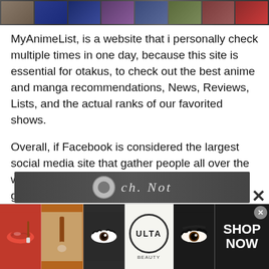[Figure (screenshot): Top strip of anime thumbnail images from MyAnimeList website]
MyAnimeList, is a website that i personally check multiple times in one day, because this site is essential for otakus, to check out the best anime and manga recommendations, News, Reviews, Lists, and the actual ranks of our favorited shows.
Overall, if Facebook is considered the largest social media site that gather people all over the world, MyAnimeList is the same too. as it gathers otakus in one place where they can chat, share their reviews, opinions, votes and much more going on within this amazing Website.
[Figure (screenshot): Advertisement banner at bottom showing beauty/makeup products, ULTA Beauty logo, and SHOP NOW button]